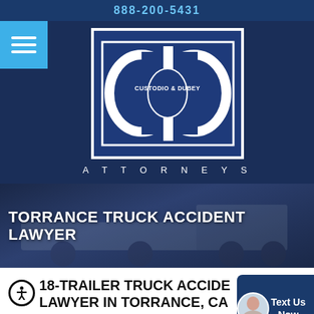888-200-5431
[Figure (logo): Custodio & Dubey Attorneys logo — stylized CD monogram in blue and white with border, text CUSTODIO & DUBEY inside, ATTORNEYS below]
TORRANCE TRUCK ACCIDENT LAWYER
18-WHEELER & SEMI-TRAILER TRUCK ACCIDENT LAWYER IN TORRANCE, CA